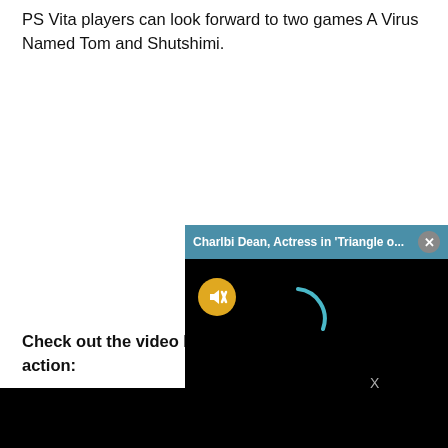PS Vita players can look forward to two games A Virus Named Tom and Shutshimi.
Check out the video be… action:
[Figure (screenshot): A popup notification bar with teal background showing 'Charlbi Dean, Actress in Triangle o...' with a close button (X), overlaid on a black video player area. A yellow mute button icon and a teal loading arc spinner are visible on the black video background.]
[Figure (screenshot): A black embedded video player area at the bottom of the page with an X close button and a partial gray bar on the right.]